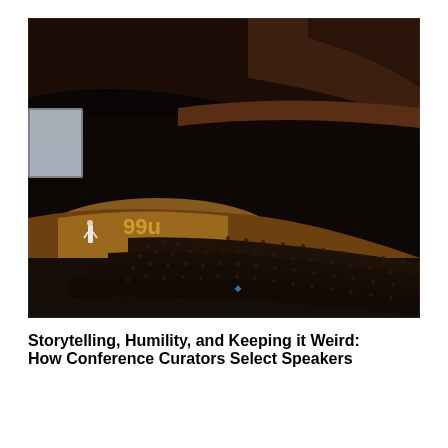[Figure (photo): A large auditorium or concert hall viewed from an elevated angle. A speaker stands on a lit stage with golden '99U' lettering visible. The audience fills rows of seats in the darkened hall. The ceiling and balcony structure are visible in warm brown tones.]
Storytelling, Humility, and Keeping it Weird: How Conference Curators Select Speakers